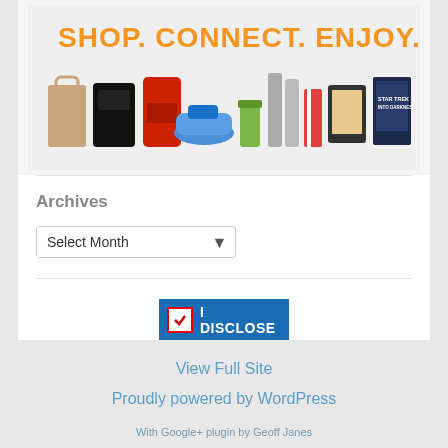[Figure (illustration): Advertisement banner with text 'SHOP. CONNECT. ENJOY.' in orange and various product images including a bag, PS4, KitchenAid mixer, sneakers, green smoothie cup, thermos bottles, Kindle, and Star Trek movie.]
Archives
[Figure (screenshot): Archives dropdown select box showing 'Select Month' with a dropdown arrow]
[Figure (illustration): I DISCLOSE badge from disclosurepolicy.org — blue badge with checkbox checkmark and text 'I DISCLOSE' and URL 'DISCLOSUREPOLICY.ORG']
View Full Site
Proudly powered by WordPress
With Google+ plugin by Geoff Janes